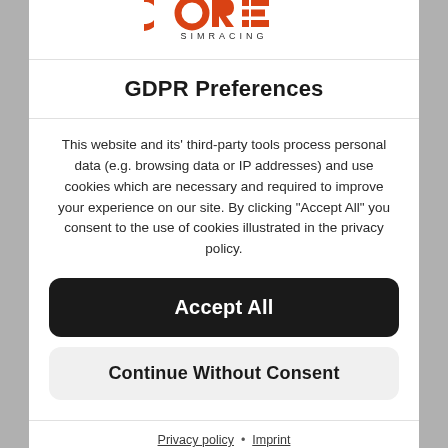[Figure (logo): CORE SIMRACING logo in red/orange stylized letters with 'SIMRACING' below]
GDPR Preferences
This website and its' third-party tools process personal data (e.g. browsing data or IP addresses) and use cookies which are necessary and required to improve your experience on our site. By clicking "Accept All" you consent to the use of cookies illustrated in the privacy policy.
Accept All
Continue Without Consent
Privacy policy • Imprint
WordPress Cookie Notice by Real Cookie Banner